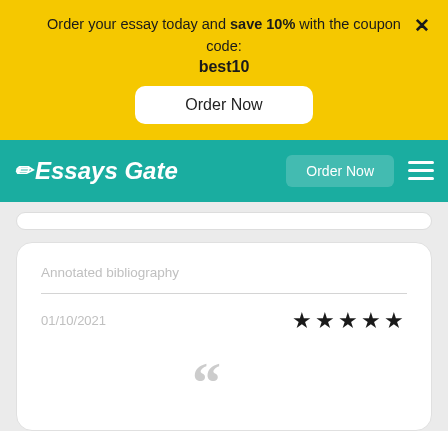Order your essay today and save 10% with the coupon code: best10
Order Now
[Figure (screenshot): Essays Gate website navigation bar with teal background, pencil logo icon, 'Essays Gate' text in white, 'Order Now' button, and hamburger menu icon]
Annotated bibliography
01/10/2021
★★★★★
[Figure (illustration): Large grey quotation mark icon]